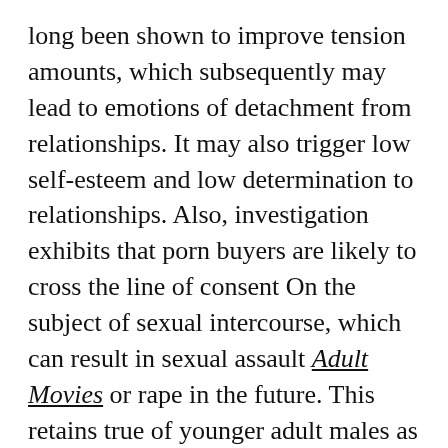long been shown to improve tension amounts, which subsequently may lead to emotions of detachment from relationships. It may also trigger low self-esteem and low determination to relationships. Also, investigation exhibits that porn buyers are likely to cross the line of consent On the subject of sexual intercourse, which can result in sexual assault Adult Movies or rape in the future. This retains true of younger adult males as well as women.
All round, porn will not be a harmless pastime. Actually, for Many of us, the only way they know the way to handle sex would